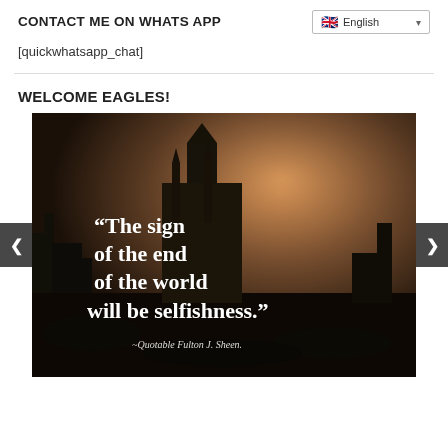CONTACT ME ON WHATS APP
[quickwhatsapp_chat]
WELCOME EAGLES!
[Figure (photo): Slideshow image with dark moody background of a gothic cathedral ruin with quote text overlaid: “The sign of the end of the world will be selfishness.” ~Quotable Fulton J. Sheen. Navigation arrows on left and right sides.]